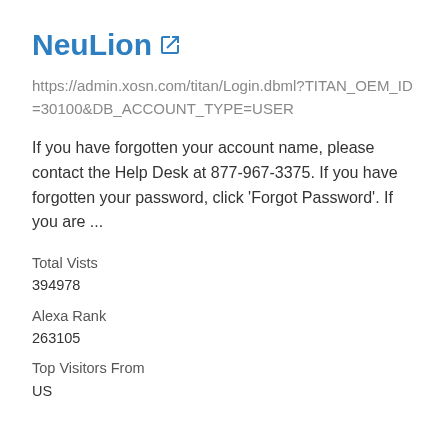NeuLion
https://admin.xosn.com/titan/Login.dbml?TITAN_OEM_ID=30100&DB_ACCOUNT_TYPE=USER
If you have forgotten your account name, please contact the Help Desk at 877-967-3375. If you have forgotten your password, click 'Forgot Password'. If you are ...
Total Vists
394978
Alexa Rank
263105
Top Visitors From
US